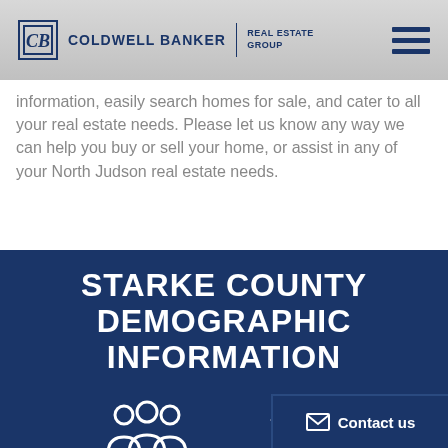COLDWELL BANKER | REAL ESTATE GROUP
information, easily search homes for sale, and cater to all your real estate needs. Please let us know any way we can help you buy or sell your home, or assist in any of your North Judson real estate needs.
STARKE COUNTY DEMOGRAPHIC INFORMATION
[Figure (illustration): White icon of group of people (left) and a building/house icon (right) on dark blue background]
[Figure (infographic): Contact us button with envelope icon at bottom right]